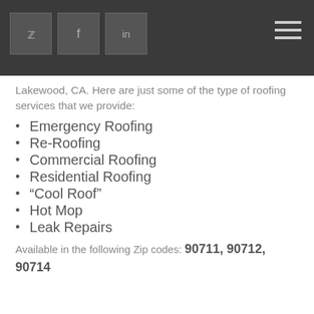Social icons: Twitter, Facebook, LinkedIn; hamburger menu
Lakewood, CA. Here are just some of the type of roofing services that we provide:
Emergency Roofing
Re-Roofing
Commercial Roofing
Residential Roofing
“Cool Roof”
Hot Mop
Leak Repairs
Available in the following Zip codes: 90711, 90712, 90714